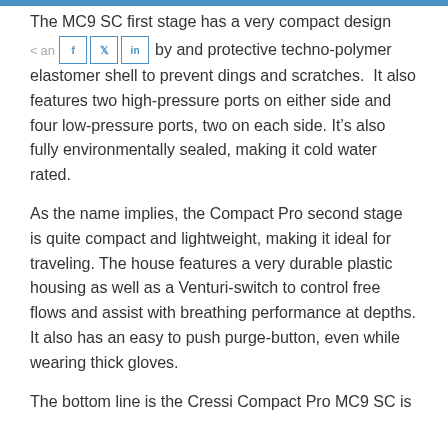The MC9 SC first stage has a very compact design and protective techno-polymer elastomer shell to prevent dings and scratches. It also features two high-pressure ports on either side and four low-pressure ports, two on each side. It's also fully environmentally sealed, making it cold water rated.
As the name implies, the Compact Pro second stage is quite compact and lightweight, making it ideal for traveling. The house features a very durable plastic housing as well as a Venturi-switch to control free flows and assist with breathing performance at depths. It also has an easy to push purge-button, even while wearing thick gloves.
The bottom line is the Cressi Compact Pro MC9 SC is